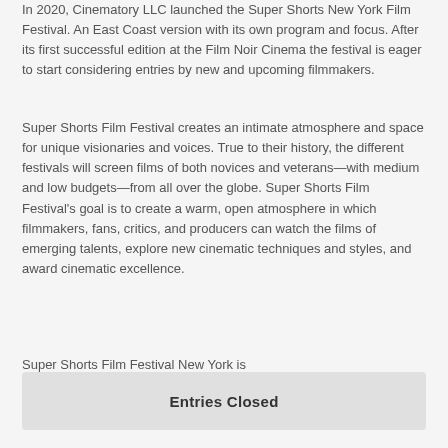In 2020, Cinematory LLC launched the Super Shorts New York Film Festival. An East Coast version with its own program and focus. After its first successful edition at the Film Noir Cinema the festival is eager to start considering entries by new and upcoming filmmakers.
Super Shorts Film Festival creates an intimate atmosphere and space for unique visionaries and voices. True to their history, the different festivals will screen films of both novices and veterans—with medium and low budgets—from all over the globe. Super Shorts Film Festival's goal is to create a warm, open atmosphere in which filmmakers, fans, critics, and producers can watch the films of emerging talents, explore new cinematic techniques and styles, and award cinematic excellence.
Super Shorts Film Festival New York is
Entries Closed